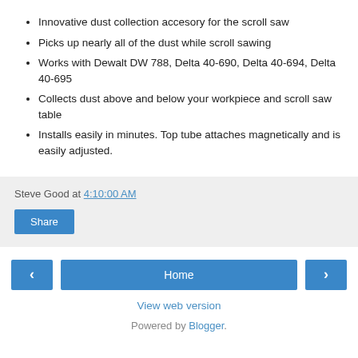Innovative dust collection accesory for the scroll saw
Picks up nearly all of the dust while scroll sawing
Works with Dewalt DW 788, Delta 40-690, Delta 40-694, Delta 40-695
Collects dust above and below your workpiece and scroll saw table
Installs easily in minutes. Top tube attaches magnetically and is easily adjusted.
Steve Good at 4:10:00 AM
Share
Home
View web version
Powered by Blogger.